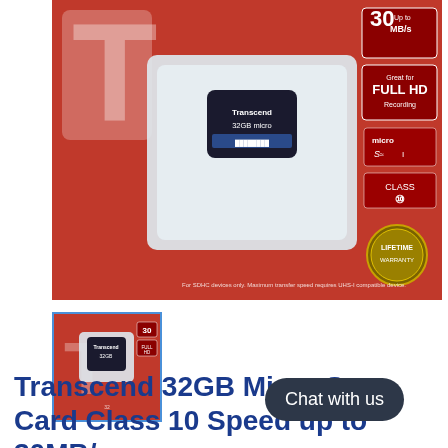[Figure (photo): Transcend 32GB Micro SD card in retail packaging on red background. Shows microSD card in clear plastic case. Right side shows: 30 MB/s (Up to), Great for FULL HD Recording, microSD, CLASS 10, LIFETIME warranty badge. Bottom text: For SDHC devices only. Maximum transfer speed requires UHS-I compatible device.]
[Figure (photo): Thumbnail image of same Transcend 32GB microSD card retail packaging, selected with blue border.]
Transcend 32GB Micro S... Card Class 10 Speed up to 30MB/s
Chat with us